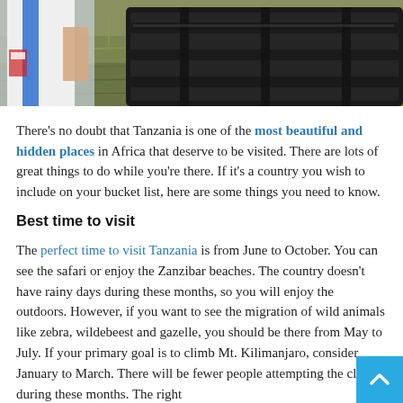[Figure (photo): Partial photo showing a person in white and blue clothing on the left, a dark metal barrier/gate structure, and green grass/field in the background]
There's no doubt that Tanzania is one of the most beautiful and hidden places in Africa that deserve to be visited. There are lots of great things to do while you're there. If it's a country you wish to include on your bucket list, here are some things you need to know.
Best time to visit
The perfect time to visit Tanzania is from June to October. You can see the safari or enjoy the Zanzibar beaches. The country doesn't have rainy days during these months, so you will enjoy the outdoors. However, if you want to see the migration of wild animals like zebra, wildebeest and gazelle, you should be there from May to July. If your primary goal is to climb Mt. Kilimanjaro, consider January to March. There will be fewer people attempting the climb during these months. The right